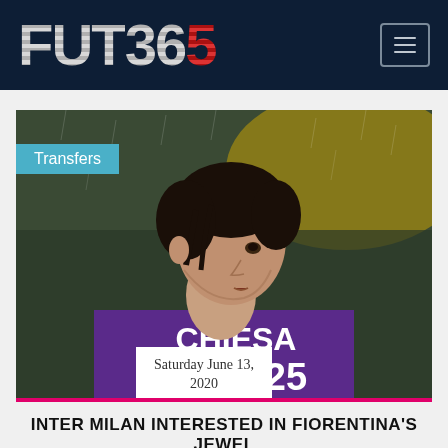FUT365
[Figure (photo): Federico Chiesa wearing Fiorentina purple jersey number 25 with 'Chiesa' on back, looking sideways in rainy conditions]
Transfers
Saturday June 13, 2020
INTER MILAN INTERESTED IN FIORENTINA'S JEWEL